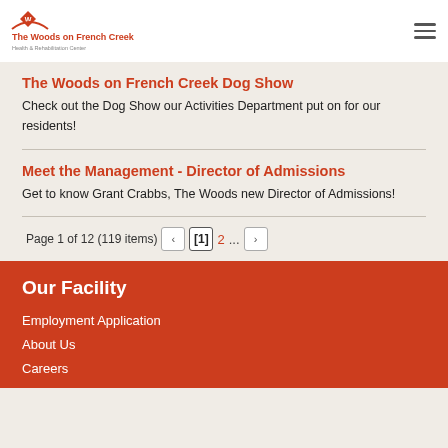The Woods on French Creek Health & Rehabilitation Center
The Woods on French Creek Dog Show
Check out the Dog Show our Activities Department put on for our residents!
Meet the Management - Director of Admissions
Get to know Grant Crabbs, The Woods new Director of Admissions!
Page 1 of 12 (119 items)  [1]  2  ...  >
Our Facility
Employment Application
About Us
Careers